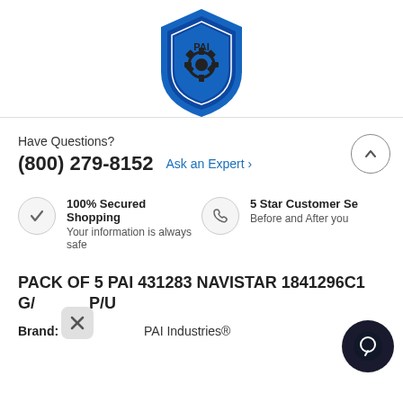[Figure (logo): PAI Industries shield/crest logo in blue and white with gear icon, partially visible at top]
Have Questions?
(800) 279-8152   Ask an Expert ›
100% Secured Shopping
Your information is always safe
5 Star Customer Se...
Before and After you...
PACK OF 5 PAI 431283 NAVISTAR 1841296C1 GA... P/U
Brand:   PAI Industries®